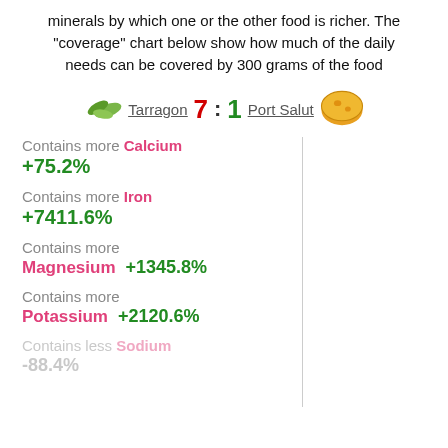minerals by which one or the other food is richer. The "coverage" chart below show how much of the daily needs can be covered by 300 grams of the food
Tarragon 7 : 1 Port Salut
Contains more Calcium +75.2%
Contains more Iron +7411.6%
Contains more Magnesium +1345.8%
Contains more Potassium +2120.6%
Contains less Sodium -88.4%